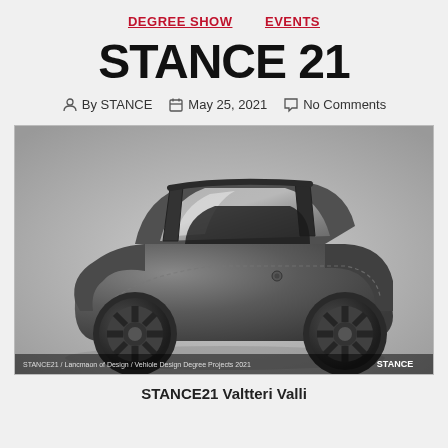DEGREE SHOW  EVENTS
STANCE 21
By STANCE   May 25, 2021   No Comments
[Figure (photo): 3D render of a small two-seat electric microcar concept vehicle in dark grey, viewed from a three-quarter front angle. The vehicle has large round wheels with multi-spoke rims, a compact rounded body, and an open-top rollbar structure. Image watermark reads: STANCE21 / Lancmaon of Design / Vehiole Design Degree Projects 2021]
STANCE21 Valtteri Valli